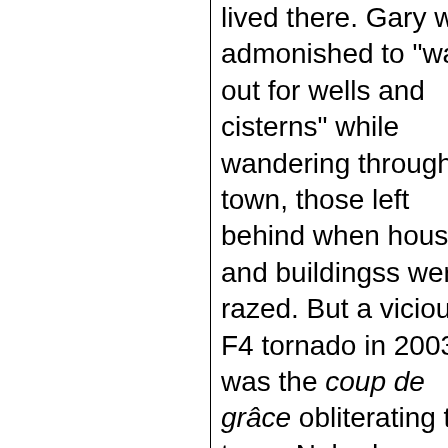lived there. Gary was admonished to "watch out for wells and cisterns" while wandering through town, those left behind when houses and buildingss were razed. But a vicious F4 tornado in 2003 was the coup de grâce obliterating the town. Nobody was killed, but th...